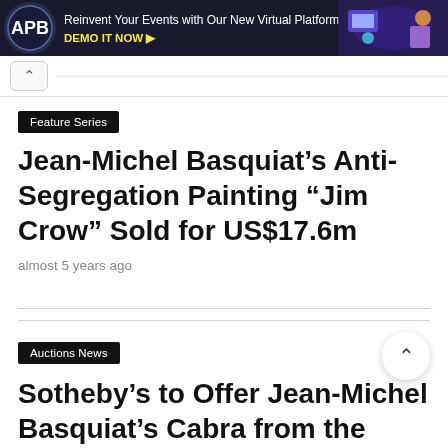[Figure (illustration): APB advertisement banner: dark background with APB logo, text 'Reinvent Your Events with Our New Virtual Platform', 'DEMO IT NOW ▶' in yellow, and decorative illustration on the right]
Feature Series
Jean-Michel Basquiat's Anti-Segregation Painting “Jim Crow” Sold for US$17.6m
almost 5 years ago
Auctions News
Sotheby’s to Offer Jean-Michel Basquiat’s Cabra from the Collection of Yoko Ono